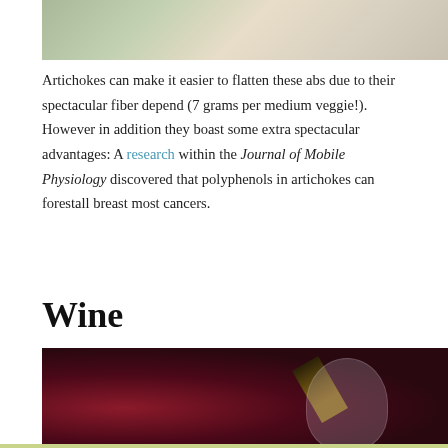[Figure (photo): Top portion of an image showing what appears to be artichokes or vegetables in a light-colored wooden container, partially visible at top of page]
Artichokes can make it easier to flatten these abs due to their spectacular fiber depend (7 grams per medium veggie!). However in addition they boast some extra spectacular advantages: A research within the Journal of Mobile Physiology discovered that polyphenols in artichokes can forestall breast most cancers.
Wine
[Figure (photo): Photo of red wine being poured from a bottle into a wine glass, with rich dark red wine colors and a glass of red wine visible on the left side]